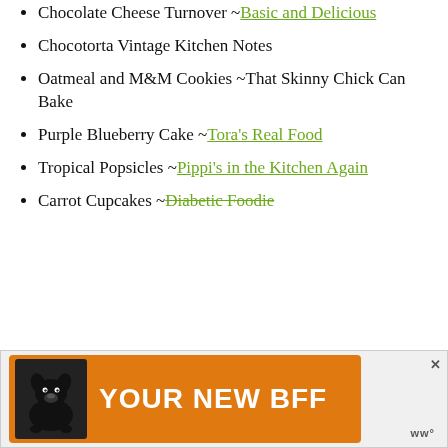Chocolate Cheese Turnover ~Basic and Delicious
Chocotorta Vintage Kitchen Notes
Oatmeal and M&M Cookies ~That Skinny Chick Can Bake
Purple Blueberry Cake ~Tora's Real Food
Tropical Popsicles ~Pippi's in the Kitchen Again
Carrot Cupcakes ~Diabetic Foodie
[Figure (other): Advertisement banner with dog image and text 'YOUR NEW BFF' on orange background]